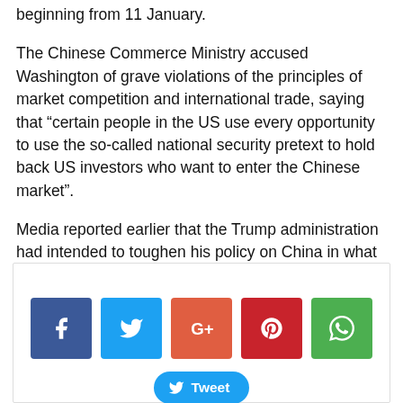beginning from 11 January.
The Chinese Commerce Ministry accused Washington of grave violations of the principles of market competition and international trade, saying that “certain people in the US use every opportunity to use the so-called national security pretext to hold back US investors who want to enter the Chinese market”.
Media reported earlier that the Trump administration had intended to toughen his policy on China in what was presumed to be President Trump’s last days in office.
[Figure (infographic): Social share buttons: Facebook (blue), Twitter (light blue), Google+ (red-orange), Pinterest (dark red), WhatsApp (green), and a Tweet button below.]